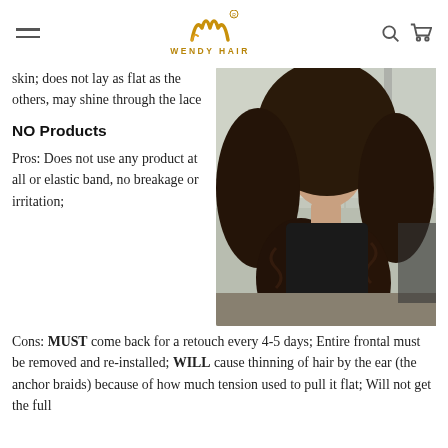WENDY HAIR
skin; does not lay as flat as the others, may shine through the lace
NO Products
Pros: Does not use any product at all or elastic band, no breakage or irritation;
[Figure (photo): Mannequin head wearing a long curly dark brown lace front wig, photographed near a window]
Cons: MUST come back for a retouch every 4-5 days; Entire frontal must be removed and re-installed; WILL cause thinning of hair by the ear (the anchor braids) because of how much tension used to pull it flat; Will not get the full